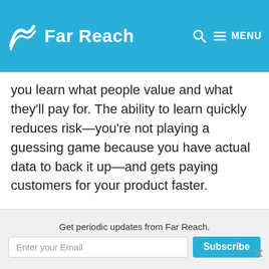Far Reach — navigation header with logo, search and menu
So, it's a functioning product, but more importantly, it's a learning tool. By starting with the minimal set of features that will attract users, you learn what people value and what they'll pay for. The ability to learn quickly reduces risk—you're not playing a guessing game because you have actual data to back it up—and gets paying customers for your product faster.
We also use the MVP concept to help clients manage their budgets. Clients typically have a lot of great ideas about what to include in their products. And we love it when people are
Get periodic updates from Far Reach. Enter your Email | Subscribe